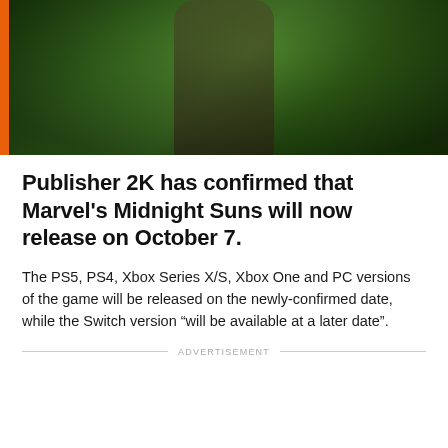[Figure (photo): Dark green-toned game screenshot showing a shadowy figure, with an orange bar on the left edge]
Publisher 2K has confirmed that Marvel's Midnight Suns will now release on October 7.
The PS5, PS4, Xbox Series X/S, Xbox One and PC versions of the game will be released on the newly-confirmed date, while the Switch version “will be available at a later date”.
ADVERTISEMENT
The release date was revealed during a new trailer which was shown during the Summer Game Fest show today.